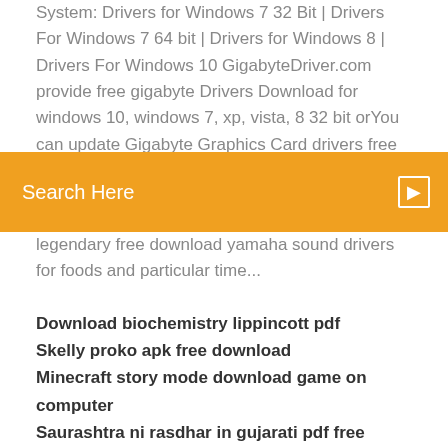System: Drivers for Windows 7 32 Bit | Drivers For Windows 7 64 bit | Drivers for Windows 8 | Drivers For Windows 10 GigabyteDriver.com provide free gigabyte Drivers Download for windows 10, windows 7, xp, vista, 8 32 bit orYou can update Gigabyte Graphics Card drivers free from our site, Just Download Gigabyte from the download...
[Figure (screenshot): Orange search bar with 'Search Here' placeholder text and a search icon on the right]
legendary free download yamaha sound drivers for foods and particular time...
Download biochemistry lippincott pdf
Skelly proko apk free download
Minecraft story mode download game on computer
Saurashtra ni rasdhar in gujarati pdf free download
Download all files from a sharefile link
Internet explorer 11 download for android
Average number of apps downloaded per month